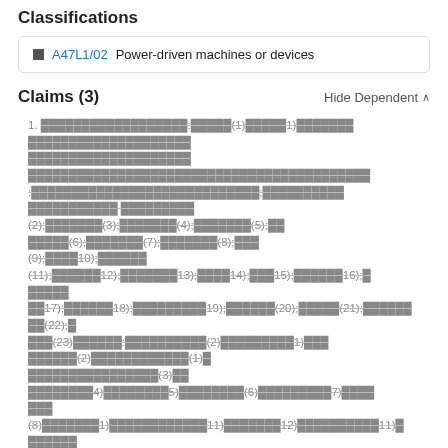Classifications
A47L1/02  Power-driven machines or devices
Claims (3)
Hide Dependent ^
1. [redacted claim text with references to elements (1) through (23) and additional sub-elements (2) through (15)]
2. [redacted claim text with references to elements (3),(5),(7),(3),(1©),(17),(18),(19),(20),(21),(22),(2¾,(3) — (16),(1),(17)]